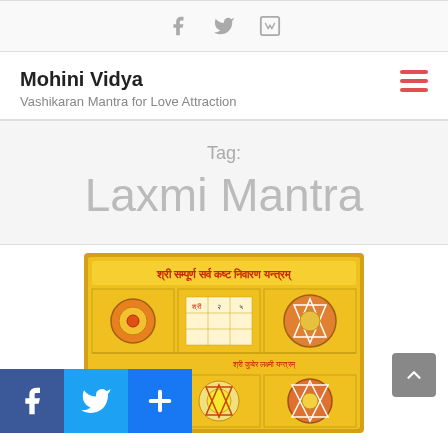Social icons: Facebook, Twitter, Vimeo
Mohini Vidya
Vashikaran Mantra for Love Attraction
Tag: Laxmi Mantra
[Figure (photo): A golden yantra (Sri Sampurna Sarva Kashta Nivaran Yantra) with colorful geometric patterns, Sanskrit text in red at the top, and multiple sacred geometric diagrams in a grid layout on a gold background.]